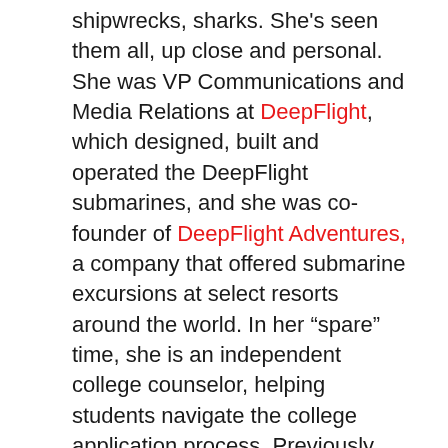shipwrecks, sharks. She's seen them all, up close and personal. She was VP Communications and Media Relations at DeepFlight, which designed, built and operated the DeepFlight submarines, and she was co-founder of DeepFlight Adventures, a company that offered submarine excursions at select resorts around the world. In her “spare” time, she is an independent college counselor, helping students navigate the college application process. Previously, Karen was an Associate Producer at American Adventure Productions in Aspen, Colorado, and an Associate at the Corporate PR firm, Kekst and Company in New York. Karen graduated from Colgate University and has a Masters in International Affairs from Columbia University and an MBA from NYU Stern School of Business. She is originally from Nantucket Island Massachusetts and has lived in Marin since 1995